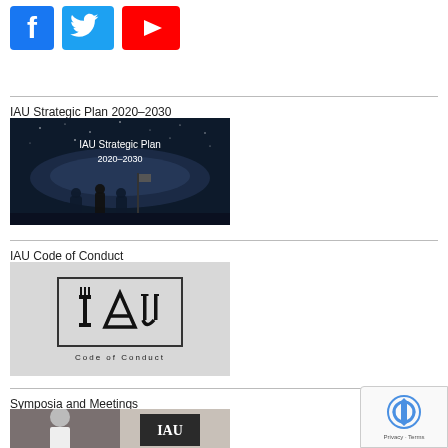[Figure (illustration): Social media icons row: Facebook (blue square with 'f'), Twitter (blue bird), YouTube (red square with play button)]
IAU Strategic Plan 2020–2030
[Figure (photo): IAU Strategic Plan 2020–2030 cover image showing silhouettes of people against a starry night sky with text 'IAU Strategic Plan 2020–2030']
IAU Code of Conduct
[Figure (logo): IAU Code of Conduct logo on grey background showing IAU emblem in a rectangle border with text 'Code of Conduct' below]
Symposia and Meetings
[Figure (photo): Partial image showing a person on the left and what appears to be an IAU banner on the right, partially cut off at bottom of page]
[Figure (other): Google reCAPTCHA badge in bottom right corner with reCAPTCHA logo and 'Privacy · Terms' text]